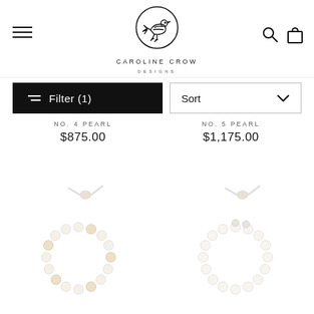[Figure (logo): Caroline Crow Designs logo — geometric bird inside a circle, with text CAROLINE CROW DESIGNS below]
Filter (1)
Sort
NO. 4 PEARL
$875.00
NO. 5 PEARL
$1,175.00
[Figure (photo): Pearl bead bracelet with adjustable cord, white and gold beads arranged in a circle — left product image]
[Figure (photo): Pearl bead bracelet with adjustable cord, white and gold beads arranged in a circle — right product image]